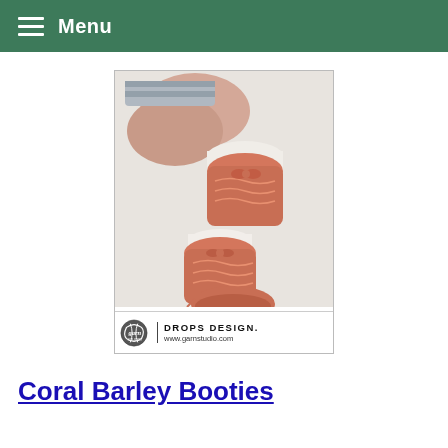Menu
[Figure (photo): Close-up photo of a baby's feet wearing coral/salmon-colored knitted booties with a lace pattern and bow detail, lying on a white surface. The image has a DROPS DESIGN logo bar at the bottom with a yarn ball graphic and text: DROPS DESIGN. www.garnstudio.com]
Coral Barley Booties